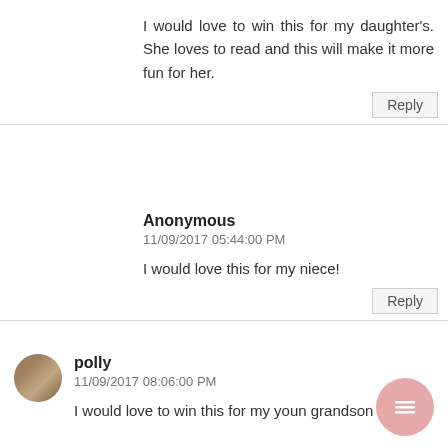I would love to win this for my daughter's. She loves to read and this will make it more fun for her.
Reply
Anonymous
11/09/2017 05:44:00 PM
I would love this for my niece!
Reply
[Figure (photo): Small circular avatar photo of user polly, showing a brown/tan cat or similar pet image]
polly
11/09/2017 08:06:00 PM
I would love to win this for my youn grandson